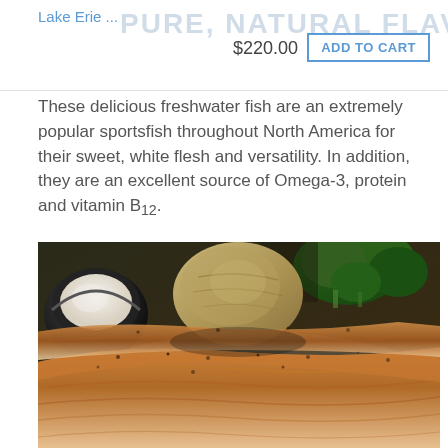Lake Erie ... PURE, NATURAL FLAVOR
$220.00
ADD TO CART
These delicious freshwater fish are an extremely popular sportsfish throughout North America for their sweet, white flesh and versatility. In addition, they are an excellent source of Omega-3, protein and vitamin B12.
[Figure (photo): Close-up photo of seasoned grilled fish fillet with broccoli, a baked potato, and a small bowl of dipping sauce (tartar sauce or sour cream) on a white plate.]